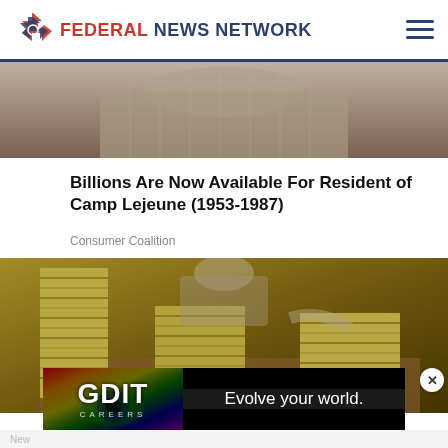FEDERAL NEWS NETWORK
[Figure (photo): Partial top image showing a person, cropped at top]
Billions Are Now Available For Resident of Camp Lejeune (1953-1987)
Consumer Coalition
[Figure (photo): Photo of large stacks of bundled US dollar bills on a table with a person in the background]
[Figure (other): GDIT CAREERS advertisement banner — Evolve your world.]